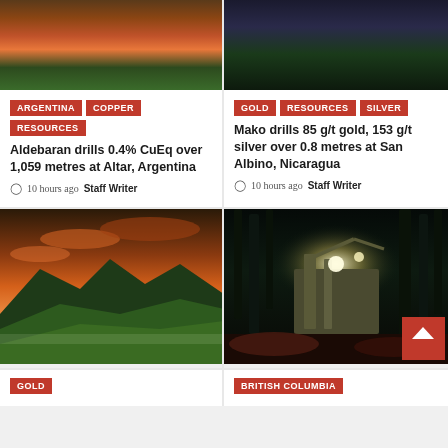[Figure (photo): Mountain landscape with orange/red sunset sky (top-left card image)]
ARGENTINA | COPPER | RESOURCES — Aldebaran drills 0.4% CuEq over 1,059 metres at Altar, Argentina — 10 hours ago Staff Writer
[Figure (photo): Dark night scene (top-right card image)]
GOLD | RESOURCES | SILVER — Mako drills 85 g/t gold, 153 g/t silver over 0.8 metres at San Albino, Nicaragua — 10 hours ago Staff Writer
[Figure (photo): Mountain landscape with dramatic orange sunset sky over green hills]
[Figure (photo): Night drilling operation with heavy machinery lit up among tall trees]
GOLD (partial tag visible)
BRITISH COLUMBIA (partial tag visible)